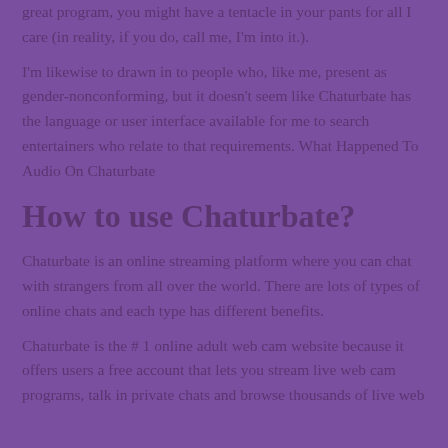great program, you might have a tentacle in your pants for all I care (in reality, if you do, call me, I'm into it.).
I'm likewise to drawn in to people who, like me, present as gender-nonconforming, but it doesn't seem like Chaturbate has the language or user interface available for me to search entertainers who relate to that requirements. What Happened To Audio On Chaturbate
How to use Chaturbate?
Chaturbate is an online streaming platform where you can chat with strangers from all over the world. There are lots of types of online chats and each type has different benefits.
Chaturbate is the # 1 online adult web cam website because it offers users a free account that lets you stream live web cam programs, talk in private chats and browse thousands of live web